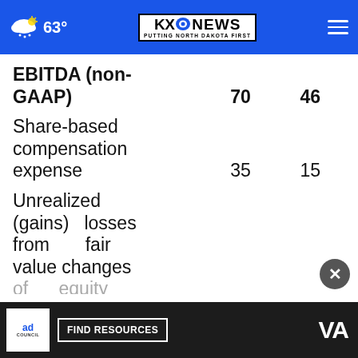KX News - Putting North Dakota First | 63°
|  |  |  |
| --- | --- | --- |
| EBITDA (non-GAAP) | 70 | 46 |
| Share-based compensation expense | 35 | 15 |
| Unrealized (gains) losses from fair value changes of equity secur... |  |  |